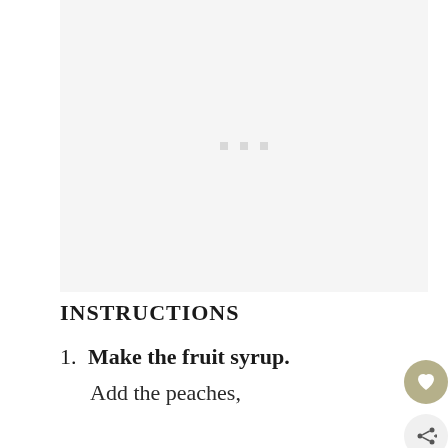[Figure (photo): Large image placeholder area with light gray background and three small gray dots centered near the top]
INSTRUCTIONS
1. Make the fruit syrup. Add the peaches, raspberries, sugar, and